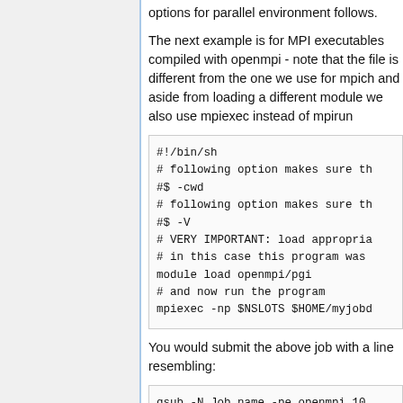options for parallel environment follows.
The next example is for MPI executables compiled with openmpi - note that the file is different from the one we use for mpich and aside from loading a different module we also use mpiexec instead of mpirun
#!/bin/sh
# following option makes sure th
#$ -cwd
# following option makes sure th
#$ -V
# VERY IMPORTANT: load appropria
# in this case this program was
module load openmpi/pgi
# and now run the program
mpiexec -np $NSLOTS $HOME/myjobd
You would submit the above job with a line resembling:
qsub -N Job_name -pe openmpi 10